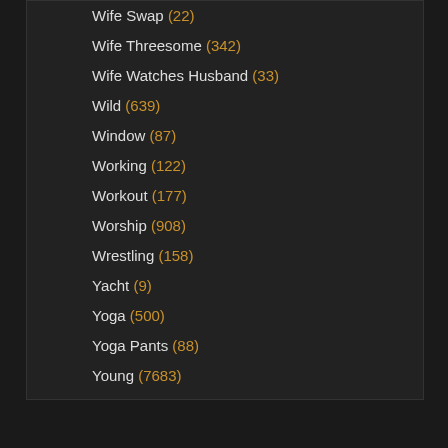Wife Swap (22)
Wife Threesome (342)
Wife Watches Husband (33)
Wild (639)
Window (87)
Working (122)
Workout (177)
Worship (908)
Wrestling (158)
Yacht (9)
Yoga (500)
Yoga Pants (88)
Young (7683)